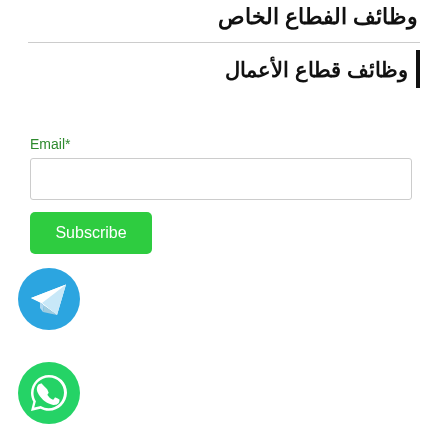وظائف الفطاع الخاص
وظائف قطاع الأعمال
Email*
Subscribe
[Figure (logo): Telegram circular icon - blue circle with white paper plane]
[Figure (logo): WhatsApp circular icon - green circle with white phone handset]